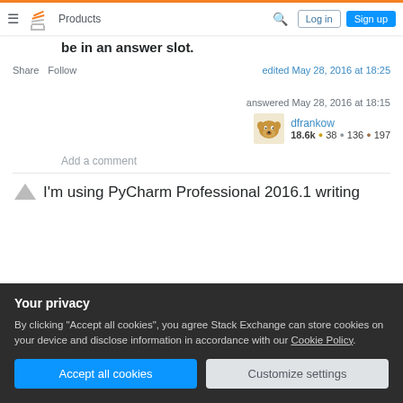≡  Stack Overflow  Products  🔍  Log in  Sign up
be in an answer slot.
Share  Follow  edited May 28, 2016 at 18:25
answered May 28, 2016 at 18:15
dfrankow  18.6k ● 38 ● 136 ● 197
Add a comment
I'm using PyCharm Professional 2016.1 writing
Your privacy
By clicking "Accept all cookies", you agree Stack Exchange can store cookies on your device and disclose information in accordance with our Cookie Policy.
Accept all cookies   Customize settings